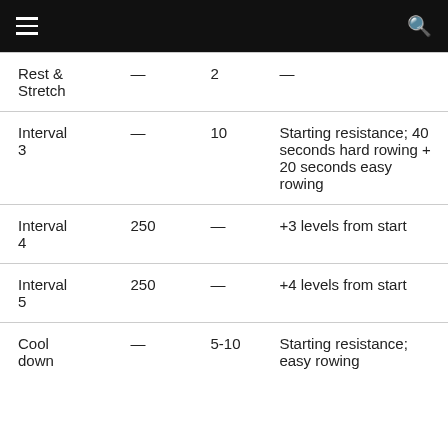≡  🔍
|  |  |  |  |
| --- | --- | --- | --- |
| Rest &
Stretch | — | 2 | — |
| Interval
3 | — | 10 | Starting resistance; 40 seconds hard rowing + 20 seconds easy rowing |
| Interval
4 | 250 | — | +3 levels from start |
| Interval
5 | 250 | — | +4 levels from start |
| Cool
down | — | 5-10 | Starting resistance; easy rowing |